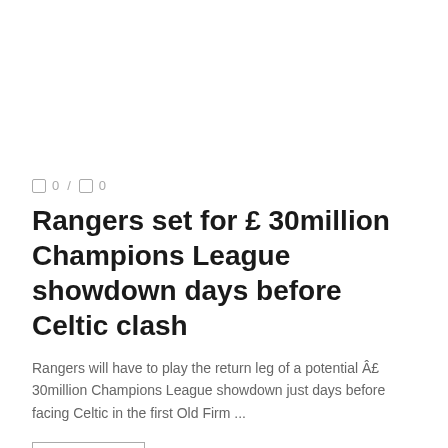0 / 0
Rangers set for £ 30million Champions League showdown days before Celtic clash
Rangers will have to play the return leg of a potential Â£ 30million Champions League showdown just days before facing Celtic in the first Old Firm ...
READ MORE